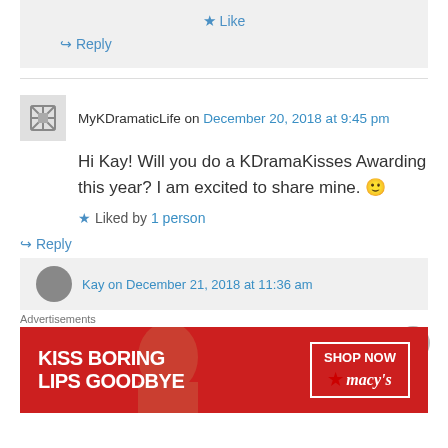★ Like
↪ Reply
MyKDramaticLife on December 20, 2018 at 9:45 pm
Hi Kay! Will you do a KDramaKisses Awarding this year? I am excited to share mine. 🙂
★ Liked by 1 person
↪ Reply
Kay on December 21, 2018 at 11:36 am
Advertisements
[Figure (other): Macy's advertisement banner: KISS BORING LIPS GOODBYE, SHOP NOW, macys star logo]